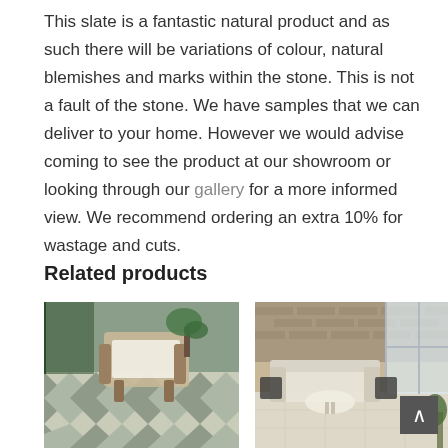This slate is a fantastic natural product and as such there will be variations of colour, natural blemishes and marks within the stone. This is not a fault of the stone. We have samples that we can deliver to your home. However we would advise coming to see the product at our showroom or looking through our gallery for a more informed view. We recommend ordering an extra 10% for wastage and cuts.
Related products
[Figure (photo): Outdoor patterned tile floor with a wooden armchair with white cushion and green plant accents]
[Figure (photo): Outdoor patio area with light stone tiles, dark metal furniture set with sofa and round coffee table, brick wall and bi-fold glass doors in background]